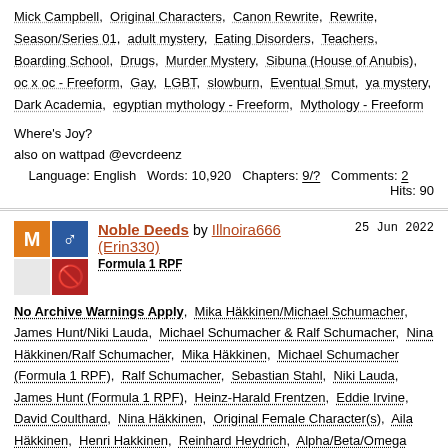Mick Campbell, Original Characters, Canon Rewrite, Rewrite, Season/Series 01, adult mystery, Eating Disorders, Teachers, Boarding School, Drugs, Murder Mystery, Sibuna (House of Anubis), oc x oc - Freeform, Gay, LGBT, slowburn, Eventual Smut, ya mystery, Dark Academia, egyptian mythology - Freeform, Mythology - Freeform
Where's Joy?
also on wattpad @evcrdeenz
Language: English   Words: 10,920   Chapters: 9/?   Comments: 2   Hits: 90
Noble Deeds by Illnoira666 (Erin330)   25 Jun 2022   Formula 1 RPF
No Archive Warnings Apply, Mika Häkkinen/Michael Schumacher, James Hunt/Niki Lauda, Michael Schumacher & Ralf Schumacher, Nina Häkkinen/Ralf Schumacher, Mika Häkkinen, Michael Schumacher (Formula 1 RPF), Ralf Schumacher, Sebastian Stahl, Niki Lauda, James Hunt (Formula 1 RPF), Heinz-Harald Frentzen, Eddie Irvine, David Coulthard, Nina Häkkinen, Original Female Character(s), Aila Häkkinen, Henri Hakkinen, Reinhard Heydrich, Alpha/Beta/Omega Dynamics, Alpha/Omega, Omega Verse, ABO, Mpreg, Nazi Germany, Nazis, Alternate Universe - Nazi Germany, Alternate Universe -